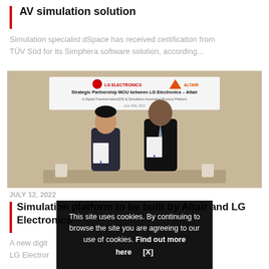AV simulation solution
Simulation specialist dSpace has received certification from TÜV Süd for its Simphera software solution, according...
[Figure (photo): Two people standing in front of a banner reading 'Strategic Partnership MOU between LG Electronics – Altair in Digital Transformation(DX) & Simulation-Automated Process Platform, June 30th, 2022', each holding a signed document.]
JULY 12, 2022
Simulation platform to be built by Altair and LG Electronics
A new digit... LG Electror...
This site uses cookies. By continuing to browse the site you are agreeing to our use of cookies. Find out more here   [X]